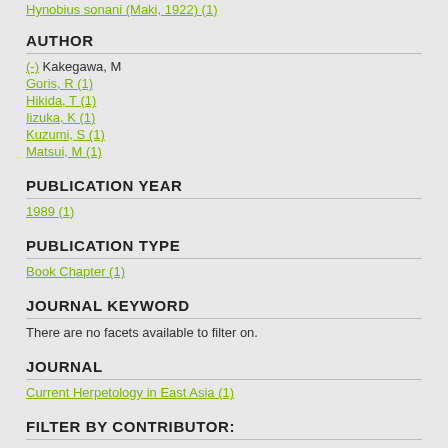Hynobius sonani (Maki, 1922) (1)
AUTHOR
(-) Kakegawa, M
Goris, R (1)
Hikida, T (1)
Iizuka, K (1)
Kuzumi, S (1)
Matsui, M (1)
PUBLICATION YEAR
1989 (1)
PUBLICATION TYPE
Book Chapter (1)
JOURNAL KEYWORD
There are no facets available to filter on.
JOURNAL
Current Herpetology in East Asia (1)
FILTER BY CONTRIBUTOR:
Sarah Miller (1)